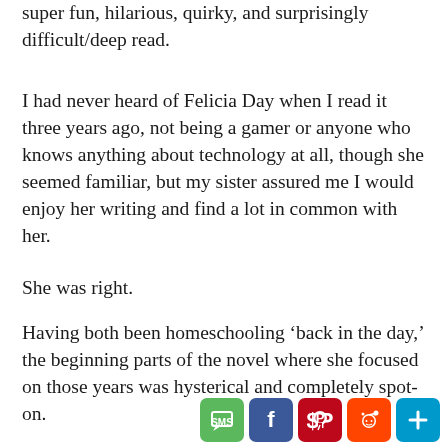super fun, hilarious, quirky, and surprisingly difficult/deep read.
I had never heard of Felicia Day when I read it three years ago, not being a gamer or anyone who knows anything about technology at all, though she seemed familiar, but my sister assured me I would enjoy her writing and find a lot in common with her.
She was right.
Having both been homeschooling ‘back in the day,’ the beginning parts of the novel where she focused on those years was hysterical and completely spot-on.